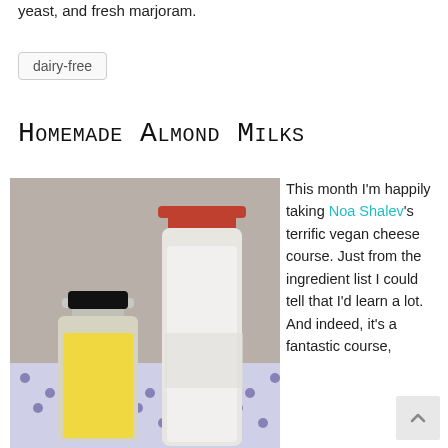yeast, and fresh marjoram.
dairy-free
Homemade Almond Milks
[Figure (photo): Two glass bottles on a patterned tablecloth: a shorter bottle filled with yellow liquid and a taller bottle with a red cap filled with white milky liquid.]
This month I'm happily taking Noa Shalev's terrific vegan cheese course. Just from the ingredient list I could tell that I'd learn a lot. And indeed, it's a fantastic course,